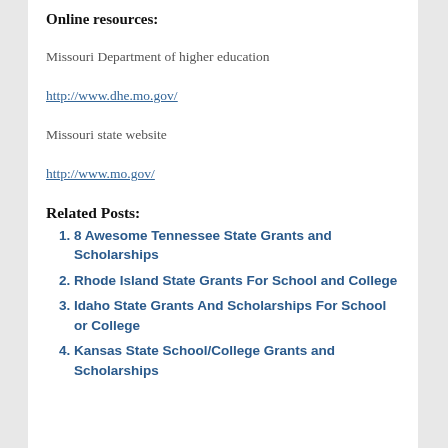Online resources:
Missouri Department of higher education
http://www.dhe.mo.gov/
Missouri state website
http://www.mo.gov/
Related Posts:
8 Awesome Tennessee State Grants and Scholarships
Rhode Island State Grants For School and College
Idaho State Grants And Scholarships For School or College
Kansas State School/College Grants and Scholarships